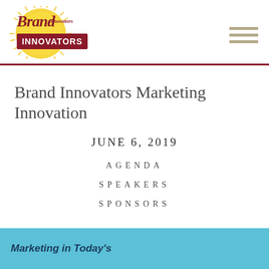[Figure (logo): Brand Innovators logo with sunburst and script lettering]
Brand Innovators Marketing Innovation
JUNE 6, 2019
AGENDA
SPEAKERS
SPONSORS
Marketing in Today's